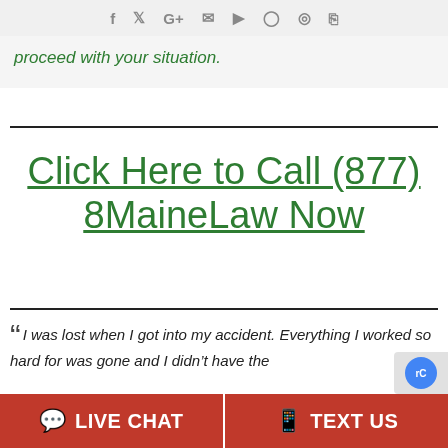Facebook Twitter Google+ Email YouTube Instagram Globe Mobile
proceed with your situation.
Click Here to Call (877) 8MaineLaw Now
“I was lost when I got into my accident. Everything I worked so hard for was gone and I didn’t have the
LIVE CHAT   TEXT US